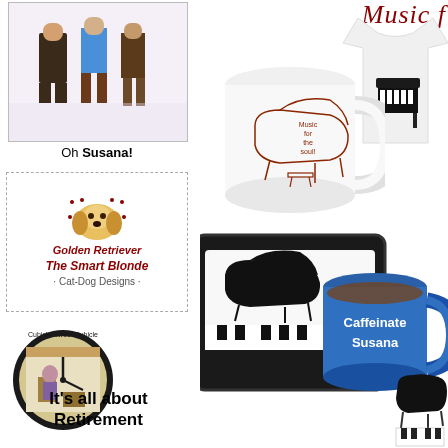[Figure (illustration): Left column top: illustration of people standing - Oh Susana themed people figures]
Oh Susana!
[Figure (illustration): Golden Retriever - The Smart Blonde, Cat-Dog Designs logo with dog illustration, text in red italic, dotted border]
[Figure (illustration): Cubicle Sweet Cubicle wall clock with office cubicle scene]
It's all about Retirement
[Figure (illustration): Right column: Music for the soul title in red cursive at top]
[Figure (photo): White coffee mug with piano/grand piano illustration and 'Music for the soul' text]
[Figure (photo): White t-shirt with piano design]
[Figure (photo): Black pillow with piano keys and piano design, Music for the soul text]
[Figure (photo): Blue mug with 'Caffeinate Susana' text and piano design]